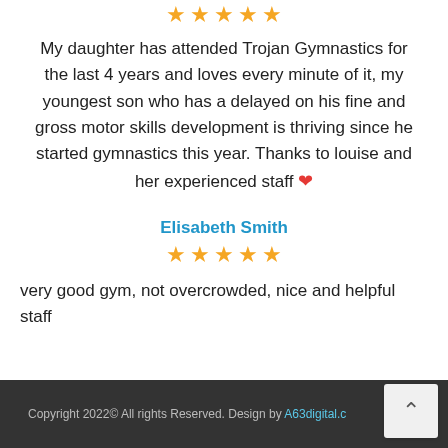[Figure (other): 5 orange star rating icons at the top]
My daughter has attended Trojan Gymnastics for the last 4 years and loves every minute of it, my youngest son who has a delayed on his fine and gross motor skills development is thriving since he started gymnastics this year. Thanks to louise and her experienced staff ❤️
Elisabeth Smith
[Figure (other): 5 orange star rating icons]
very good gym, not overcrowded, nice and helpful staff
Copyright 2022© All rights Reserved. Design by A63digital.c…